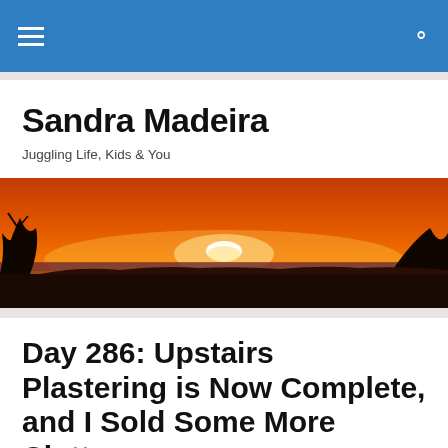Sandra Madeira — navigation bar with hamburger menu and search icon
Sandra Madeira
Juggling Life, Kids & You
[Figure (photo): A wide panoramic sunset photograph showing a deep orange and red sky with the sun setting on the horizon, silhouettes of trees and landscape in the foreground.]
Day 286: Upstairs Plastering is Now Complete, and I Sold Some More Clutter
Another full and busy day today. I was pleased that I